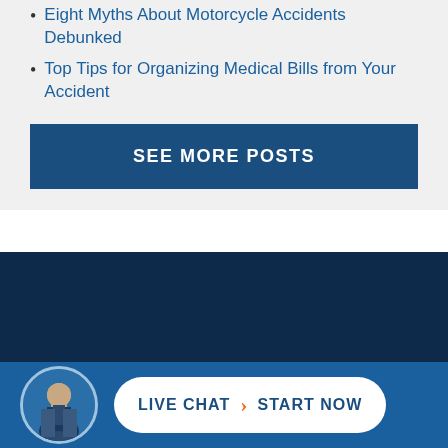Eight Myths About Motorcycle Accidents Debunked
Top Tips for Organizing Medical Bills from Your Accident
SEE MORE POSTS
[Figure (photo): Dark navy background section with a man in suit photo and a Live Chat Start Now button on a blue bar at the bottom]